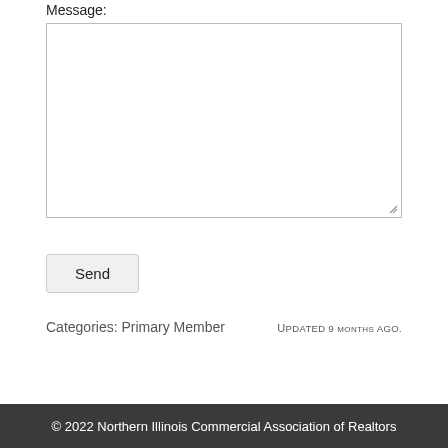Message:
[textarea - empty message input field]
Send
Categories: Primary Member
Updated 9 months ago.
© 2022 Northern Illinois Commercial Association of Realtors